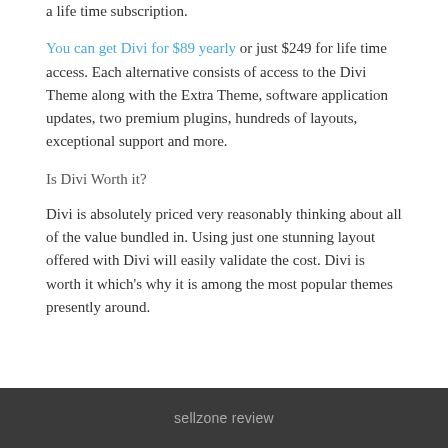a life time subscription. You can get Divi for $89 yearly or just $249 for life time access. Each alternative consists of access to the Divi Theme along with the Extra Theme, software application updates, two premium plugins, hundreds of layouts, exceptional support and more.
Is Divi Worth it?
Divi is absolutely priced very reasonably thinking about all of the value bundled in. Using just one stunning layout offered with Divi will easily validate the cost. Divi is worth it which's why it is among the most popular themes presently around.
sellzone review